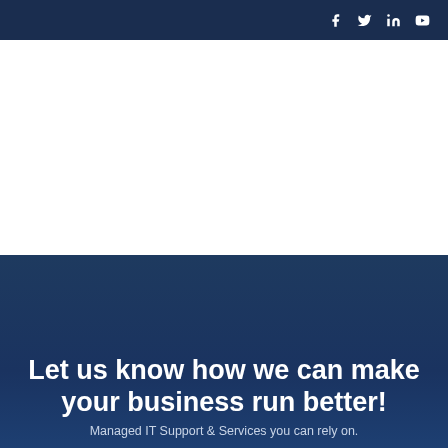f  twitter  in  youtube
[Figure (other): White empty section, likely a navigation or hero image area]
Let us know how we can make your business run better!
Managed IT Support & Services you can rely on.